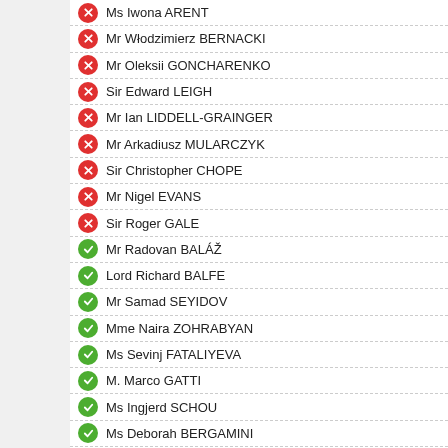Ms Iwona ARENT
Mr Włodzimierz BERNACKI
Mr Oleksii GONCHARENKO
Sir Edward LEIGH
Mr Ian LIDDELL-GRAINGER
Mr Arkadiusz MULARCZYK
Sir Christopher CHOPE
Mr Nigel EVANS
Sir Roger GALE
Mr Radovan BALÁŽ
Lord Richard BALFE
Mr Samad SEYIDOV
Mme Naira ZOHRABYAN
Ms Sevinj FATALIYEVA
M. Marco GATTI
Ms Ingjerd SCHOU
Ms Deborah BERGAMINI